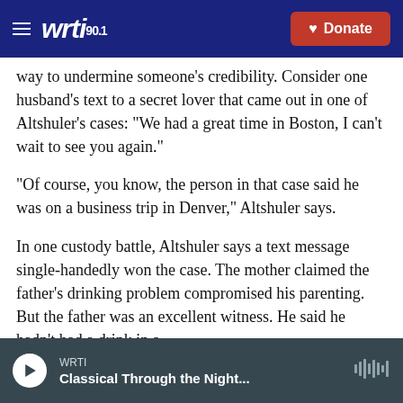WRTI 90.1 | Donate
way to undermine someone's credibility. Consider one husband's text to a secret lover that came out in one of Altshuler's cases: "We had a great time in Boston, I can't wait to see you again."
"Of course, you know, the person in that case said he was on a business trip in Denver," Altshuler says.
In one custody battle, Altshuler says a text message single-handedly won the case. The mother claimed the father's drinking problem compromised his parenting. But the father was an excellent witness. He said he hadn't had a drink in a
WRTI | Classical Through the Night...